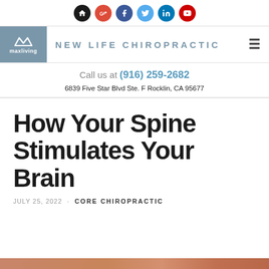[Figure (other): Social media icon bar with home, Google+, Facebook, Twitter, LinkedIn, YouTube icons]
[Figure (logo): MaxLiving logo in blue-grey box alongside NEW LIFE CHIROPRACTIC site name header]
Call us at (916) 259-2682
6839 Five Star Blvd Ste. F Rocklin, CA 95677
How Your Spine Stimulates Your Brain
JULY 25, 2022 · CORE CHIROPRACTIC
[Figure (photo): Partial image strip at bottom of page, warm terracotta/brown tones]